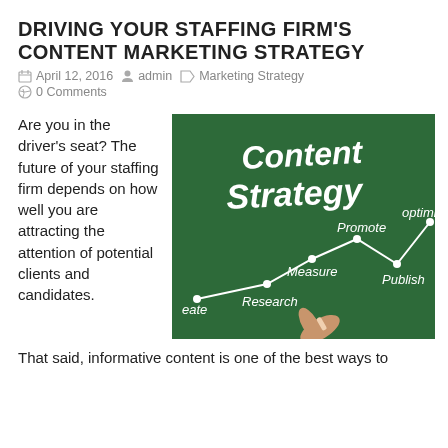DRIVING YOUR STAFFING FIRM'S CONTENT MARKETING STRATEGY
April 12, 2016   admin   Marketing Strategy   0 Comments
Are you in the driver's seat? The future of your staffing firm depends on how well you are attracting the attention of potential clients and candidates.
[Figure (photo): Chalkboard with 'Content Strategy' written in white chalk with a line graph showing steps: Create, Research, Measure, Promote, Publish, Optimize. A hand holds chalk at the bottom.]
That said, informative content is one of the best ways to